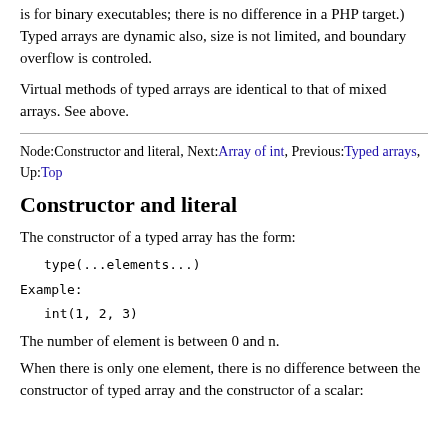is for binary executables; there is no difference in a PHP target.) Typed arrays are dynamic also, size is not limited, and boundary overflow is controled.
Virtual methods of typed arrays are identical to that of mixed arrays. See above.
Node:Constructor and literal, Next:Array of int, Previous:Typed arrays, Up:Top
Constructor and literal
The constructor of a typed array has the form:
Example:
The number of element is between 0 and n.
When there is only one element, there is no difference between the constructor of typed array and the constructor of a scalar: